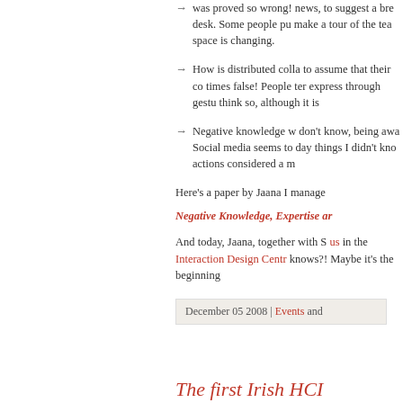was proved so wrong! news, to suggest a bre desk. Some people pu make a tour of the tea space is changing.
How is distributed colla to assume that their co times false! People ter express through gestu think so, although it is
Negative knowledge w don't know, being awa Social media seems to day things I didn't kno actions considered a m
Here's a paper by Jaana I manage
Negative Knowledge, Expertise ar
And today, Jaana, together with S us in the Interaction Design Centr knows?! Maybe it's the beginning
December 05 2008 | Events and
The first Irish HCI